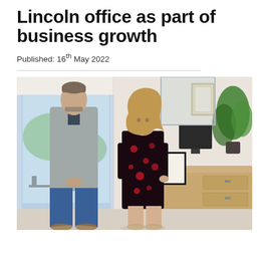Lincoln office as part of business growth
Published: 16th May 2022
[Figure (photo): Two people standing in an office reception area. A man in a grey blazer and blue jeans stands on the left, and a woman in a dark floral dress stands on the right. Behind them is a wooden reception desk, a framed certificate, a potted plant, and a glass partition with outdoor seating visible.]